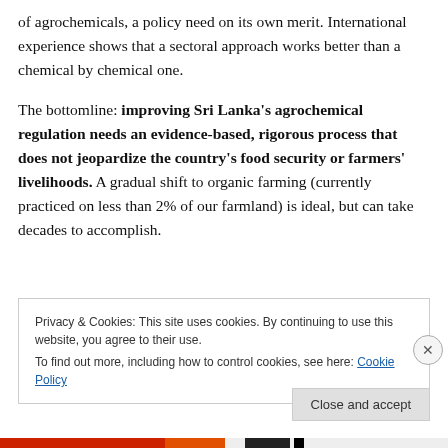of agrochemicals, a policy need on its own merit. International experience shows that a sectoral approach works better than a chemical by chemical one.

The bottomline: improving Sri Lanka's agrochemical regulation needs an evidence-based, rigorous process that does not jeopardize the country's food security or farmers' livelihoods. A gradual shift to organic farming (currently practiced on less than 2% of our farmland) is ideal, but can take decades to accomplish.
Privacy & Cookies: This site uses cookies. By continuing to use this website, you agree to their use.
To find out more, including how to control cookies, see here: Cookie Policy